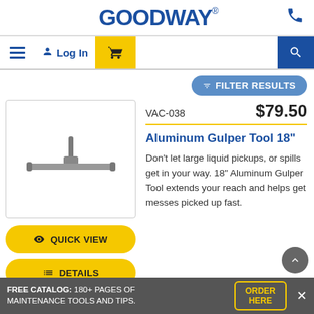[Figure (logo): GOODWAY logo in bold blue text with stylized lettering and registered trademark symbol]
[Figure (screenshot): Navigation bar with hamburger menu, Log In button, yellow cart button, search button]
FILTER RESULTS
[Figure (photo): Product image of Aluminum Gulper Tool 18 inch - a wide T-shaped squeegee/vacuum tool in aluminum]
VAC-038
$79.50
Aluminum Gulper Tool 18"
Don't let large liquid pickups, or spills get in your way. 18" Aluminum Gulper Tool extends your reach and helps get messes picked up fast.
QUICK VIEW
DETAILS
FREE CATALOG: 180+ PAGES OF MAINTENANCE TOOLS AND TIPS. ORDER HERE